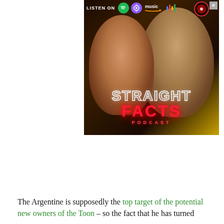[Figure (advertisement): Podcast advertisement for 'Straight Facts Podcast' showing two men smiling, with logos for Spotify, Apple Podcasts, Amazon Music, and Google Podcasts. Text reads 'LISTEN ON', 'STRAIGHT FACTS', 'PODCAST' in neon-style lettering.]
The Argentine is supposedly the top target of the potential new owners of the Toon – so the fact that he has turned